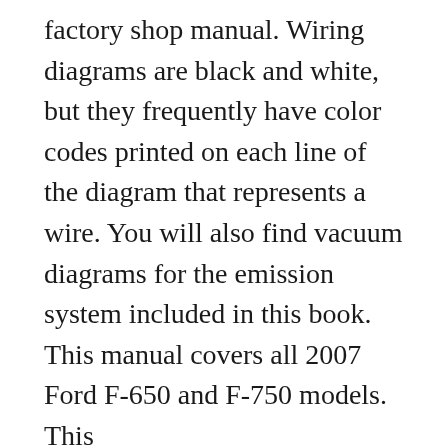factory shop manual. Wiring diagrams are black and white, but they frequently have color codes printed on each line of the diagram that represents a wire. You will also find vacuum diagrams for the emission system included in this book. This manual covers all 2007 Ford F-650 and F-750 models. This
2012 ford f650 24ft. box truck with 2500lb. tuckaway lift gate, 6.7l cummins, allison automatic, ac, tilt, cruise, serviced in our service department tires brakes all 70% or better, work ready with warranty.. 2007 FORD F650 Wrecker Tow Truck Private Seller 1,503 mi. away. See More Results. Ford-F650 . FORD Trucks. Synonymous in many circles with hard work, there is a reason